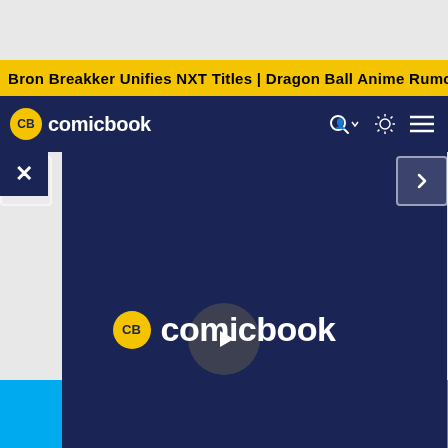Bron Breakker Unifies NXT Titles | Dragon Ball Anime Rumor
[Figure (logo): ComicBook.com navigation bar with CB yellow logo and site name in white on navy background, with user icon, theme toggle, and menu icons]
[Figure (screenshot): Video player showing ComicBook.com logo with play button overlay on dark navy background]
[Figure (logo): ComicBook.com blue banner with large yellow CB logo circle and white comicbook text on cyan/sky blue background]